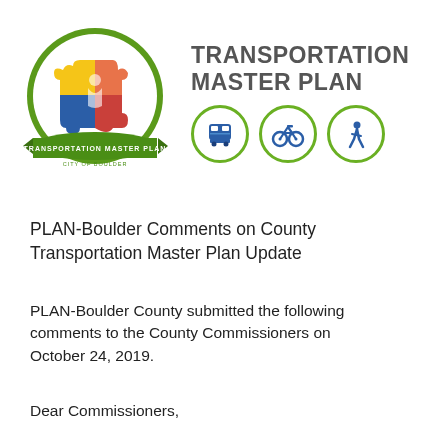[Figure (logo): City of Boulder Transportation Master Plan 'Sustainability in Action' circular logo with colorful puzzle pieces and green banner, alongside Transportation Master Plan title text and three green-circle icons depicting a bus, bicycle, and pedestrian walker]
PLAN-Boulder Comments on County Transportation Master Plan Update
PLAN-Boulder County submitted the following comments to the County Commissioners on October 24, 2019.
Dear Commissioners,